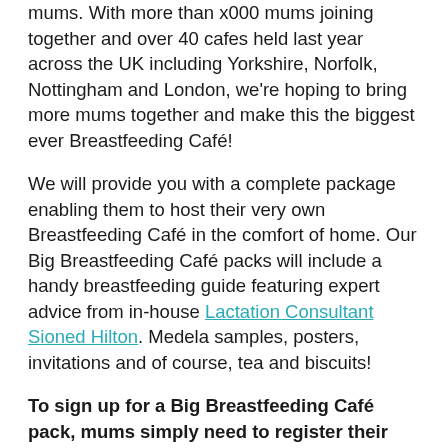mums. With more than x000 mums joining together and over 40 cafes held last year across the UK including Yorkshire, Norfolk, Nottingham and London, we're hoping to bring more mums together and make this the biggest ever Breastfeeding Café!
We will provide you with a complete package enabling them to host their very own Breastfeeding Café in the comfort of home. Our Big Breastfeeding Café packs will include a handy breastfeeding guide featuring expert advice from in-house Lactation Consultant Sioned Hilton. Medela samples, posters, invitations and of course, tea and biscuits!
To sign up for a Big Breastfeeding Café pack, mums simply need to register their interest by emailing medelamums@gmail.com.
The Big Breastfeeding Café was inspired by a survey, which found that a significant 76% of mums believed chatting with other mums at support groups